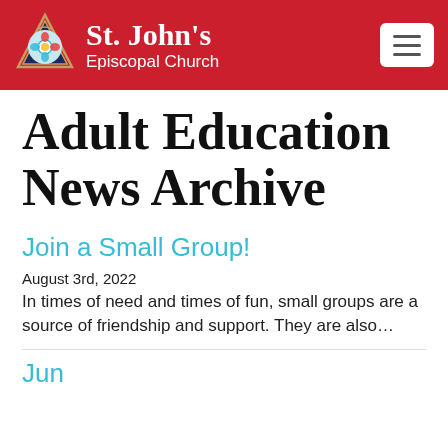St. John's Episcopal Church
Adult Education News Archive
Join a Small Group!
August 3rd, 2022
In times of need and times of fun, small groups are a source of friendship and support. They are also…